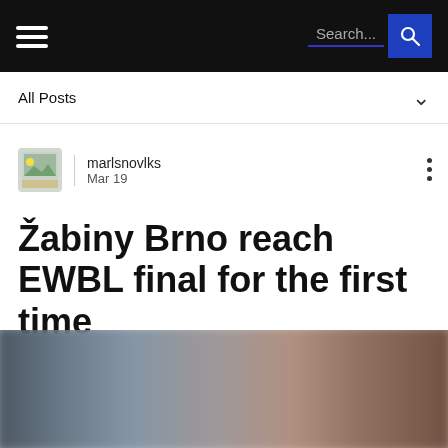Search...
All Posts
marlsnovlks
Mar 19
Žabiny Brno reach EWBL final for the first time
[Figure (photo): Blurred photograph at bottom of page showing a sports scene]